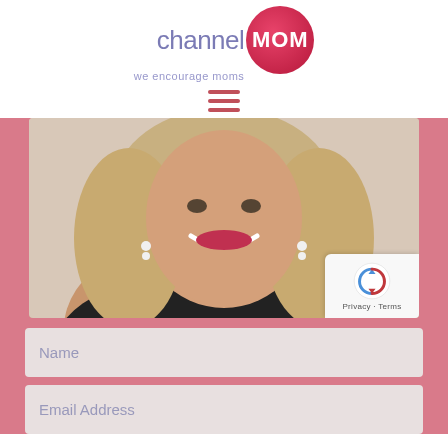[Figure (logo): channelMOM logo with 'we encourage moms' tagline. The word 'channel' is in purple/lavender and 'MOM' appears in white text on a red/crimson circle.]
[Figure (other): Hamburger menu icon (three horizontal lines) in pink/red color]
[Figure (photo): Photo of a smiling middle-aged woman with blonde hair, wearing a black top, with red lipstick and drop earrings, cropped to show face, neck and upper chest area]
Name
Email Address